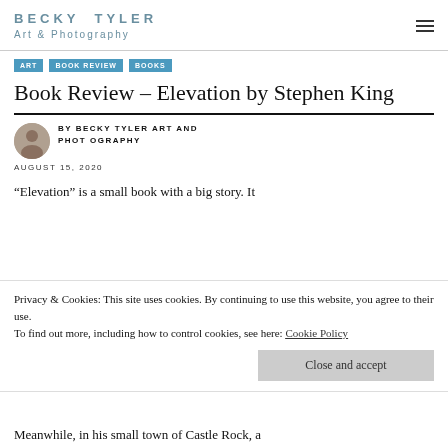BECKY TYLER Art & Photography
ART
BOOK REVIEW
BOOKS
Book Review – Elevation by Stephen King
BY BECKY TYLER ART AND PHOTOGRAPHY
AUGUST 15, 2020
“Elevation” is a small book with a big story. It
Privacy & Cookies: This site uses cookies. By continuing to use this website, you agree to their use.
To find out more, including how to control cookies, see here: Cookie Policy
Close and accept
Meanwhile, in his small town of Castle Rock, a